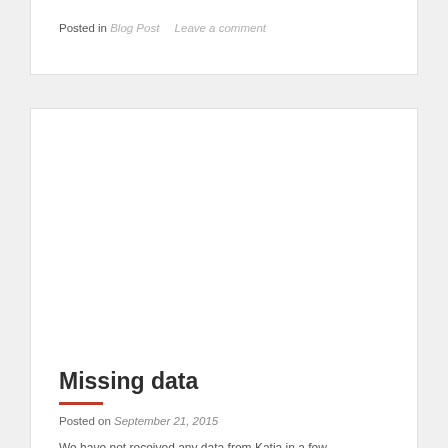Posted in Blog Post   Leave a comment
Missing data
Posted on September 21, 2015
We have not received any data from Katia in a few